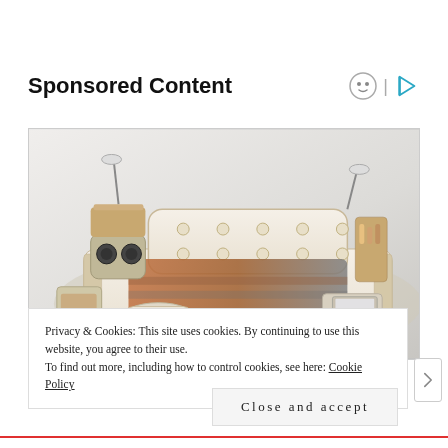Sponsored Content
[Figure (photo): A luxurious multi-functional bed with built-in speakers, massage chair, reading lamps, storage drawers, and a laptop tray. The bed has cream/beige leather upholstery with tufted headboard and various built-in features.]
Privacy & Cookies: This site uses cookies. By continuing to use this website, you agree to their use.
To find out more, including how to control cookies, see here: Cookie Policy
Close and accept